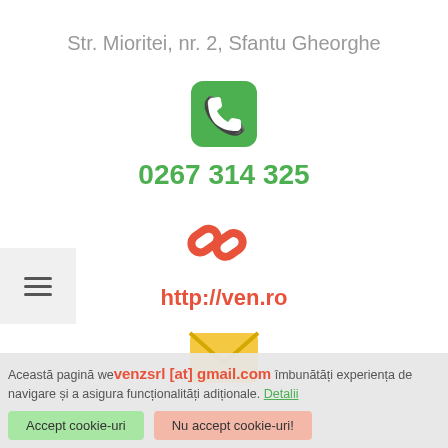Str. Mioritei, nr. 2, Sfantu Gheorghe
[Figure (illustration): Green rounded square icon with white phone/handset symbol]
0267 314 325
[Figure (illustration): Orange/red chain link icon]
http://ven.ro
[Figure (illustration): Yellow envelope/email icon]
venzsrl [at] gmail.com
Această pagină web folosește cookie-uri pentru a îmbunătăți experiența de navigare și a asigura funcționalități adiționale. Detalii
Accept cookie-uri
Nu accept cookie-uri!